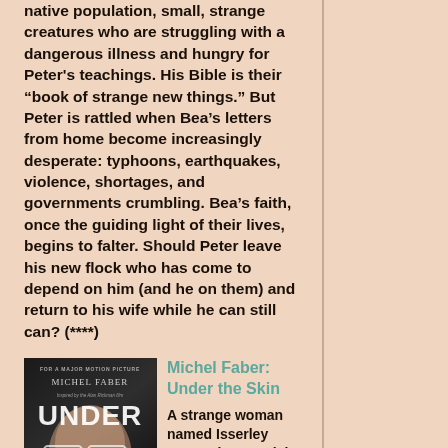native population, small, strange creatures who are struggling with a dangerous illness and hungry for Peter's teachings. His Bible is their “book of strange new things.” But Peter is rattled when Bea's letters from home become increasingly desperate: typhoons, earthquakes, violence, shortages, and governments crumbling. Bea’s faith, once the guiding light of their lives, begins to falter. Should Peter leave his new flock who has come to depend on him (and he on them) and return to his wife while he can still can? (****)
[Figure (photo): Book cover for 'Under the Skin' by Michel Faber - dark cover with a woman's face partially visible through large glasses, text reads FOR A MAJOR MOTION PICTURE at top]
Michel Faber: Under the Skin
A strange woman named Isserley roams the Scottish Highlands looking to pick up juicy, well-muscled hitchhikers in Faber's menacing debut novel. In the beginning, I thought I